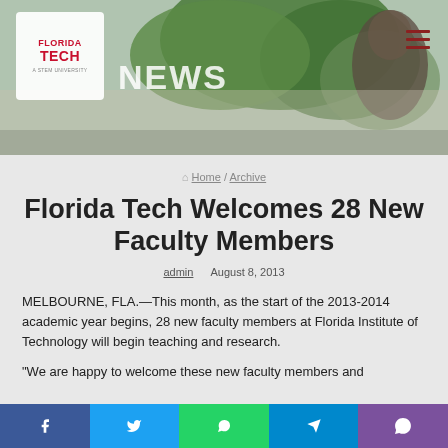[Figure (photo): Florida Tech News website header with university logo, NEWS text, and a bronze sculpture against green foliage background]
Home / Archive
Florida Tech Welcomes 28 New Faculty Members
admin   August 8, 2013
MELBOURNE, FLA.—This month, as the start of the 2013-2014 academic year begins, 28 new faculty members at Florida Institute of Technology will begin teaching and research.
"We are happy to welcome these new faculty members and